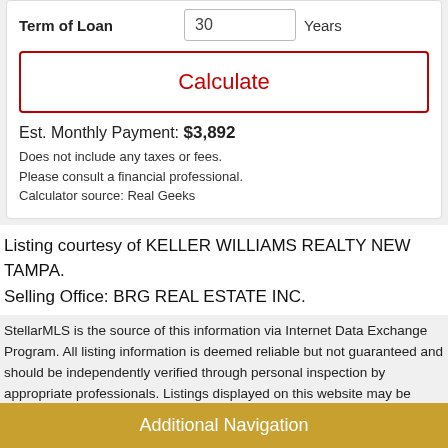Term of Loan   30   Years
Calculate
Est. Monthly Payment: $3,892
Does not include any taxes or fees.
Please consult a financial professional.
Calculator source: Real Geeks
Listing courtesy of KELLER WILLIAMS REALTY NEW TAMPA. Selling Office: BRG REAL ESTATE INC.
StellarMLS is the source of this information via Internet Data Exchange Program. All listing information is deemed reliable but not guaranteed and should be independently verified through personal inspection by appropriate professionals. Listings displayed on this website may be subject to prior sale or removal from sale. Availability of any listing should always be independently verified. Listing information is provided for consumer personal, non-commercial use, solely to identify potential properties for potential purchase. All other use is strictly prohibited and may violate relevant federal and state law. Data last updated on 2022-08-22 at 7:59 pm
Additional Navigation